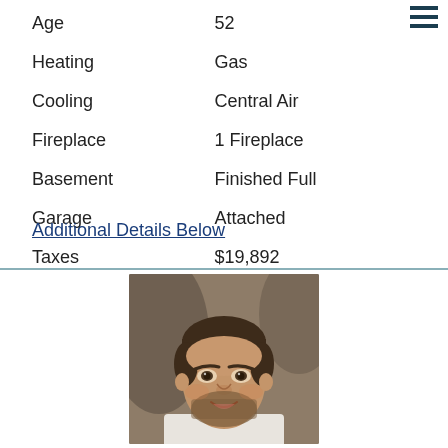| Age | 52 |
| Heating | Gas |
| Cooling | Central Air |
| Fireplace | 1 Fireplace |
| Basement | Finished Full |
| Garage | Attached |
| Taxes | $19,892 |
Additional Details Below
[Figure (photo): Headshot of a man with short brown hair and a beard, wearing a white shirt, smiling, with a neutral brown background.]